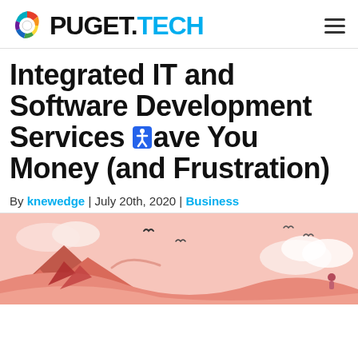PUGET.TECH
Integrated IT and Software Development Services Save You Money (and Frustration)
By knewedge | July 20th, 2020 | Business
[Figure (illustration): Colorful flat illustration showing a mountainous/windy landscape with pink and coral tones, birds flying, clouds, and a small figure. Used as article hero image.]